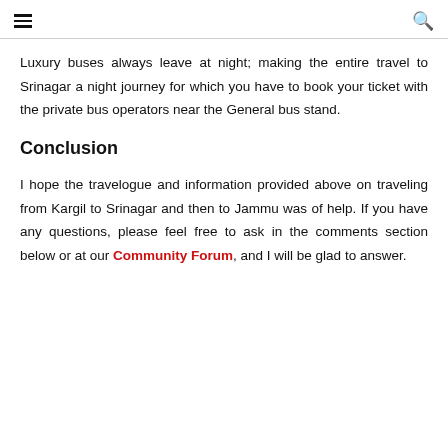≡   🔍
Luxury buses always leave at night; making the entire travel to Srinagar a night journey for which you have to book your ticket with the private bus operators near the General bus stand.
Conclusion
I hope the travelogue and information provided above on traveling from Kargil to Srinagar and then to Jammu was of help. If you have any questions, please feel free to ask in the comments section below or at our Community Forum, and I will be glad to answer.